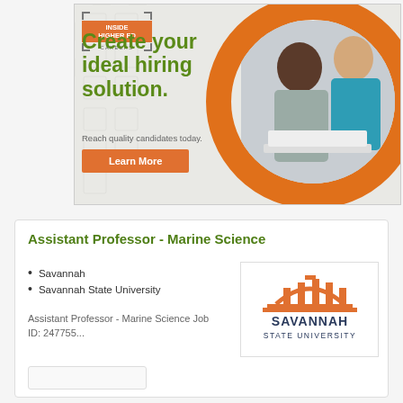[Figure (illustration): Inside Higher Ed Careers advertisement banner. Shows logo with bracket design, headline 'Create your ideal hiring solution.', subtext 'Reach quality candidates today.', orange 'Learn More' button, decorative orange circle, and photo of two women looking at a laptop.]
Assistant Professor - Marine Science
Savannah
Savannah State University
Assistant Professor - Marine Science Job ID: 247755...
[Figure (logo): Savannah State University logo: orange arch/building graphic above text SAVANNAH STATE UNIVERSITY in dark blue/gray.]